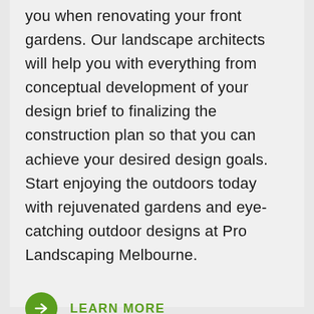you when renovating your front gardens. Our landscape architects will help you with everything from conceptual development of your design brief to finalizing the construction plan so that you can achieve your desired design goals. Start enjoying the outdoors today with rejuvenated gardens and eye-catching outdoor designs at Pro Landscaping Melbourne.
LEARN MORE